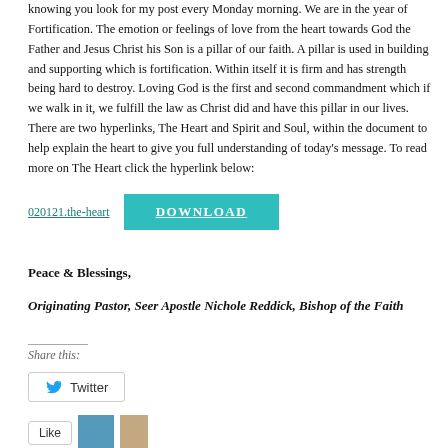knowing you look for my post every Monday morning. We are in the year of Fortification. The emotion or feelings of love from the heart towards God the Father and Jesus Christ his Son is a pillar of our faith. A pillar is used in building and supporting which is fortification. Within itself it is firm and has strength being hard to destroy. Loving God is the first and second commandment which if we walk in it, we fulfill the law as Christ did and have this pillar in our lives. There are two hyperlinks, The Heart and Spirit and Soul, within the document to help explain the heart to give you full understanding of today's message. To read more on The Heart click the hyperlink below:
020121.the-heart
[Figure (other): DOWNLOAD button in teal/cyan color]
Peace & Blessings,
Originating Pastor, Seer Apostle Nichole Reddick, Bishop of the Faith
Share this:
[Figure (other): Twitter share button]
[Figure (other): Bottom row with Facebook button and thumbnail images]